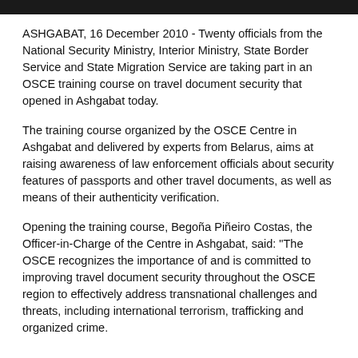ASHGABAT, 16 December 2010 - Twenty officials from the National Security Ministry, Interior Ministry, State Border Service and State Migration Service are taking part in an OSCE training course on travel document security that opened in Ashgabat today.
The training course organized by the OSCE Centre in Ashgabat and delivered by experts from Belarus, aims at raising awareness of law enforcement officials about security features of passports and other travel documents, as well as means of their authenticity verification.
Opening the training course, Begoña Piñeiro Costas, the Officer-in-Charge of the Centre in Ashgabat, said: "The OSCE recognizes the importance of and is committed to improving travel document security throughout the OSCE region to effectively address transnational challenges and threats, including international terrorism, trafficking and organized crime.